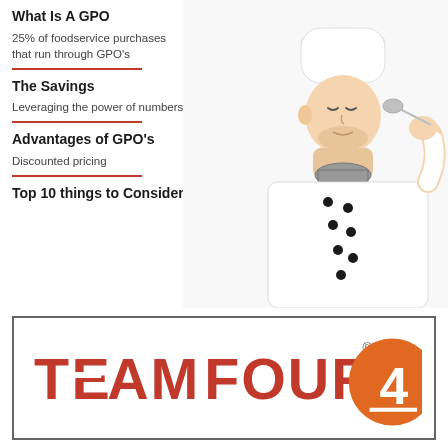What Is A GPO
25% of foodservice purchases that run through GPO's
The Savings
Leveraging the power of numbers
Advantages of GPO's
Discounted pricing
Top 10 things to Consider
[Figure (photo): Chef in white uniform and hat tasting from a spoon, white background]
[Figure (logo): Team Four logo with red text TEAM FOUR and orange circle with number 4 inside, registered trademark symbol]